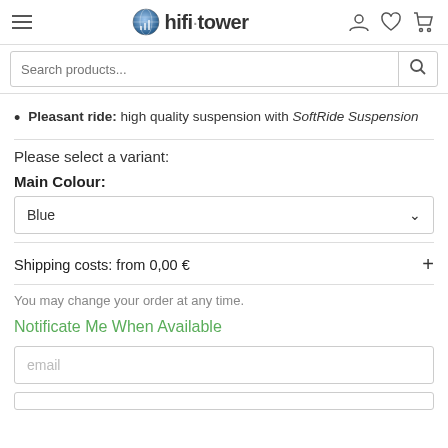hifi-tower — hamburger menu, logo, user/wishlist/cart icons, search bar
Pleasant ride: high quality suspension with SoftRide Suspension
Please select a variant:
Main Colour:
Blue (dropdown)
Shipping costs: from 0,00 €
You may change your order at any time.
Notificate Me When Available
email (input field)